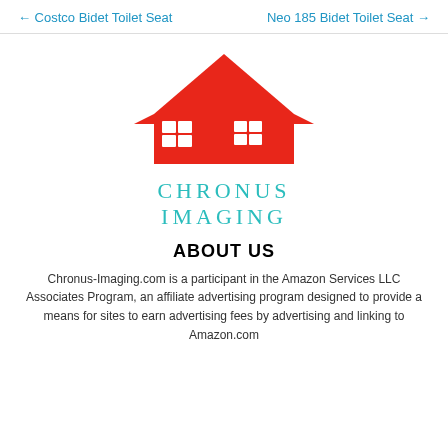← Costco Bidet Toilet Seat    Neo 185 Bidet Toilet Seat →
[Figure (logo): Chronus Imaging logo: red house silhouette with two windows above teal text reading CHRONUS IMAGING]
ABOUT US
Chronus-Imaging.com is a participant in the Amazon Services LLC Associates Program, an affiliate advertising program designed to provide a means for sites to earn advertising fees by advertising and linking to Amazon.com